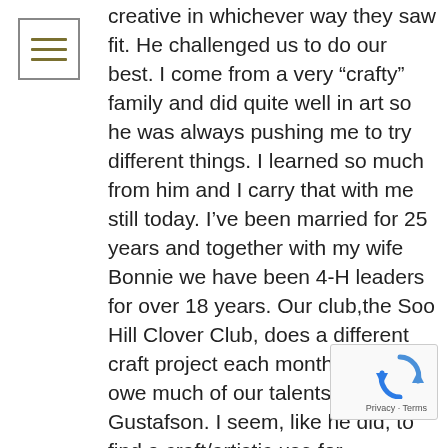[Figure (other): Hamburger menu icon — three horizontal olive/dark-yellow lines inside a square border]
creative in whichever way they saw fit. He challenged us to do our best. I come from a very “crafty” family and did quite well in art so he was always pushing me to try different things. I learned so much from him and I carry that with me still today. I’ve been married for 25 years and together with my wife Bonnie we have been 4-H leaders for over 18 years. Our club,the Soo Hill Clover Club, does a different craft project each month and we owe much of our talents to Mr. Gustafson. I seem, like he did, to find a craft/artistic use for everything that others would normally “throw away”. We have a craft room in our basement that is always busy with H’ers, greatnieces/nephews, relatives and friends………..alittle bit of everything,
[Figure (logo): Google reCAPTCHA badge with rotating arrows logo and 'Privacy · Terms' text]